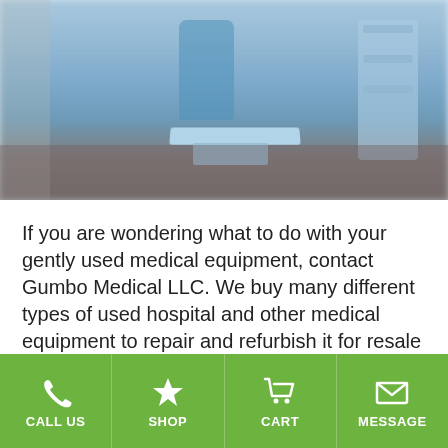[Figure (photo): Blurred photo of a medical exam room or operating room with blue medical equipment, an exam chair, a bed with blue covering, medical devices on shelves to the right, and a reddish-brown floor.]
If you are wondering what to do with your gently used medical equipment, contact Gumbo Medical LLC. We buy many different types of used hospital and other medical equipment to repair and refurbish it for resale to other customers. Selling your items to us saves you time and earns you money that you can put towards your future purchasing budget.
CALL US | SHOP | CART | MESSAGE